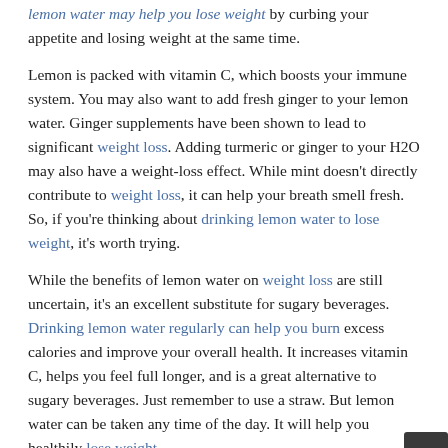lemon water may help you lose weight by curbing your appetite and losing weight at the same time.
Lemon is packed with vitamin C, which boosts your immune system. You may also want to add fresh ginger to your lemon water. Ginger supplements have been shown to lead to significant weight loss. Adding turmeric or ginger to your H2O may also have a weight-loss effect. While mint doesn't directly contribute to weight loss, it can help your breath smell fresh. So, if you're thinking about drinking lemon water to lose weight, it's worth trying.
While the benefits of lemon water on weight loss are still uncertain, it's an excellent substitute for sugary beverages. Drinking lemon water regularly can help you burn excess calories and improve your overall health. It increases vitamin C, helps you feel full longer, and is a great alternative to sugary beverages. Just remember to use a straw. But lemon water can be taken any time of the day. It will help you healthily lose weight.
Can Lemon Water Help You Lose Weight?